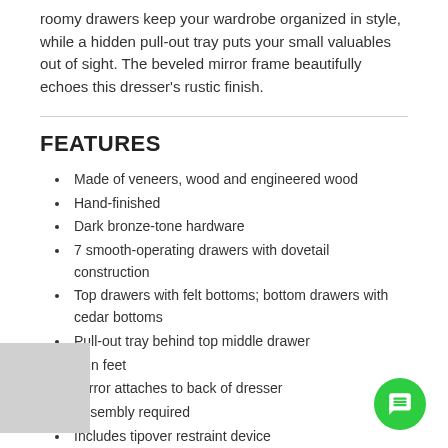roomy drawers keep your wardrobe organized in style, while a hidden pull-out tray puts your small valuables out of sight. The beveled mirror frame beautifully echoes this dresser's rustic finish.
FEATURES
Made of veneers, wood and engineered wood
Hand-finished
Dark bronze-tone hardware
7 smooth-operating drawers with dovetail construction
Top drawers with felt bottoms; bottom drawers with cedar bottoms
Pull-out tray behind top middle drawer
Bun feet
Mirror attaches to back of dresser
Assembly required
Includes tipover restraint device